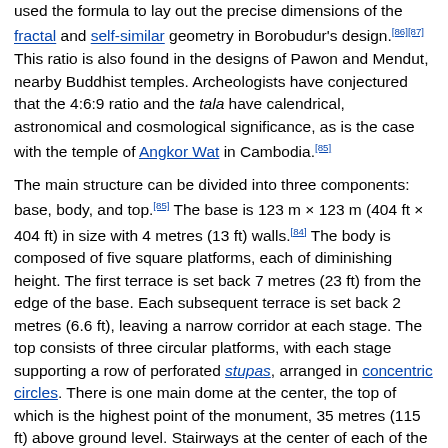used the formula to lay out the precise dimensions of the fractal and self-similar geometry in Borobudur's design.[86][87] This ratio is also found in the designs of Pawon and Mendut, nearby Buddhist temples. Archeologists have conjectured that the 4:6:9 ratio and the tala have calendrical, astronomical and cosmological significance, as is the case with the temple of Angkor Wat in Cambodia.[85]
The main structure can be divided into three components: base, body, and top.[85] The base is 123 m × 123 m (404 ft × 404 ft) in size with 4 metres (13 ft) walls.[84] The body is composed of five square platforms, each of diminishing height. The first terrace is set back 7 metres (23 ft) from the edge of the base. Each subsequent terrace is set back 2 metres (6.6 ft), leaving a narrow corridor at each stage. The top consists of three circular platforms, with each stage supporting a row of perforated stupas, arranged in concentric circles. There is one main dome at the center, the top of which is the highest point of the monument, 35 metres (115 ft) above ground level. Stairways at the center of each of the four sides give access to the top, with a number of arched gates overlooked by 32 lion statues. The gates are adorned with Kala's head carved on top of each and Makaras projecting from each side. This Kala-Makara motif is commonly found on the gates of Javanese temples. The main entrance is on the eastern side, the location of the first narrative relief. Stairways on the other three of the...